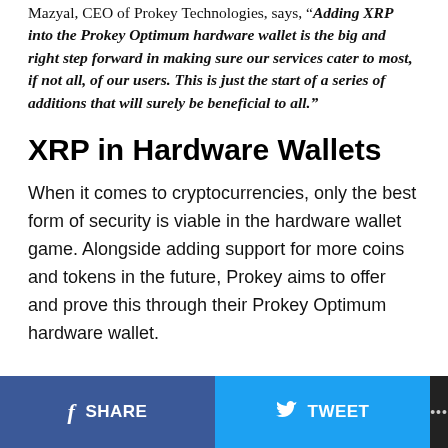Mazyal, CEO of Prokey Technologies, says, "Adding XRP into the Prokey Optimum hardware wallet is the big and right step forward in making sure our services cater to most, if not all, of our users. This is just the start of a series of additions that will surely be beneficial to all."
XRP in Hardware Wallets
When it comes to cryptocurrencies, only the best form of security is viable in the hardware wallet game. Alongside adding support for more coins and tokens in the future, Prokey aims to offer and prove this through their Prokey Optimum hardware wallet.
SHARE   TWEET   ...